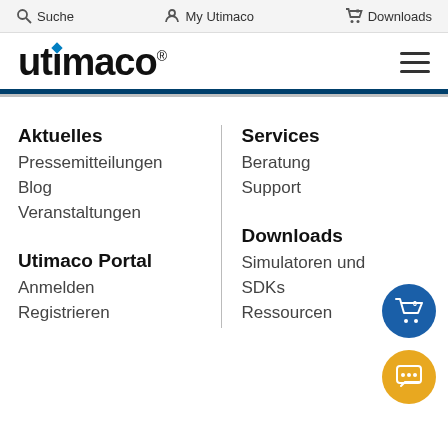Suche   My Utimaco   Downloads
[Figure (logo): Utimaco logo with blue diamond dot above the letter i]
Aktuelles
Pressemitteilungen
Blog
Veranstaltungen
Utimaco Portal
Anmelden
Registrieren
Services
Beratung
Support
Downloads
Simulatoren und
SDKs
Ressourcen